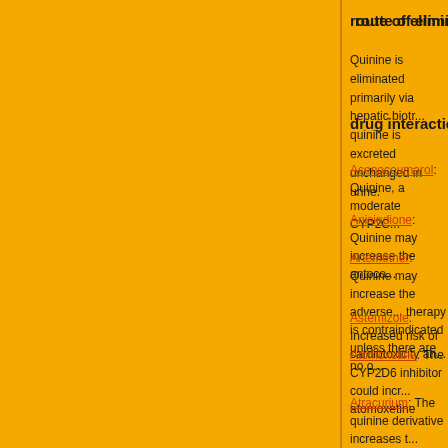route of elimination
Quinine is eliminated primarily via hepatic biotransformation. About 20% of quinine is excreted unchanged in urine.
drug interactions
Acenocoumarol: Quinine, a moderate CYP2C9 inhibitor, may increase the serum concentration of acenocoumarol by decreasing its metabolism.
Anisindione: Quinine may increase the anticoagulant effect of Anisindione.
Artemether: Quinine may increase the adverse/toxic effect of Artemether. Concomitant therapy is contraindicated unless there are no other options.
Astemizole: Increased risk of cardiotoxicity and arrhythmias.
Atomoxetine: The CYP2D6 inhibitor could increase the effect and toxicity of atomoxetine
Atracurium: The quinine derivative increases the effect of the muscle relaxant.
Dicumarol: Quinine may increase the anticoagulant effect of Dicumarol.
Digitoxin: Quinine/quinidine increases the effect of digitoxin.
Digoxin: Quinine/quinidine increases the effect of digoxin.